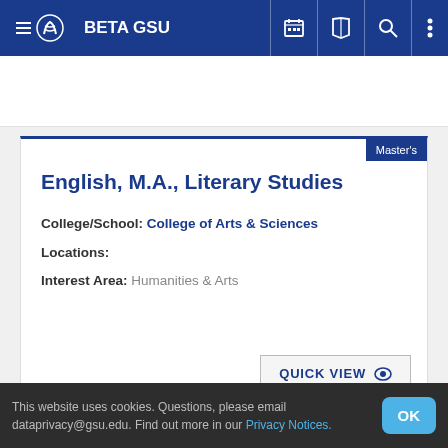BETA GSU
English, M.A., Literary Studies
College/School: College of Arts & Sciences
Locations:
Interest Area: Humanities & Arts
QUICK VIEW
This website uses cookies. Questions, please email dataprivacy@gsu.edu. Find out more in our Privacy Notices.